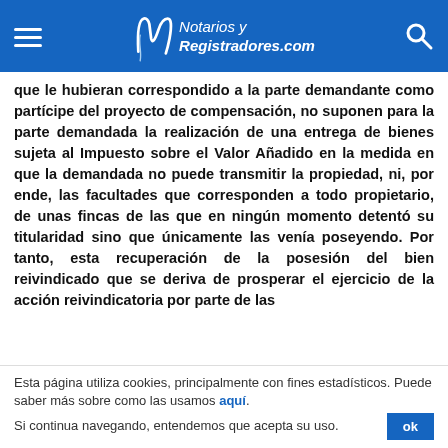Notarios y Registradores.com
que le hubieran correspondido a la parte demandante como partícipe del proyecto de compensación, no suponen para la parte demandada la realización de una entrega de bienes sujeta al Impuesto sobre el Valor Añadido en la medida en que la demandada no puede transmitir la propiedad, ni, por ende, las facultades que corresponden a todo propietario, de unas fincas de las que en ningún momento detentó su titularidad sino que únicamente las venía poseyendo. Por tanto, esta recuperación de la posesión del bien reivindicado que se deriva de prosperar el ejercicio de la acción reivindicatoria por parte de las
Esta página utiliza cookies, principalmente con fines estadísticos. Puede saber más sobre como las usamos aquí. Si continua navegando, entendemos que acepta su uso.